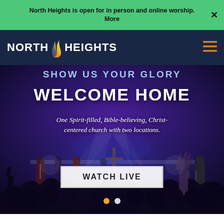North Heights is open for in person and online worship. More
[Figure (logo): North Heights church logo with flame icon and text NORTH HEIGHTS on dark navy navigation bar]
[Figure (photo): Church worship service photo showing a band performing on stage with blue/purple lighting, audience silhouettes with raised hands in the foreground, and text overlays reading SHOW US YOUR GLORY, WELCOME HOME, and a tagline]
WELCOME HOME
One Spirit-filled, Bible-believing, Christ-centered church with two locations.
WATCH LIVE